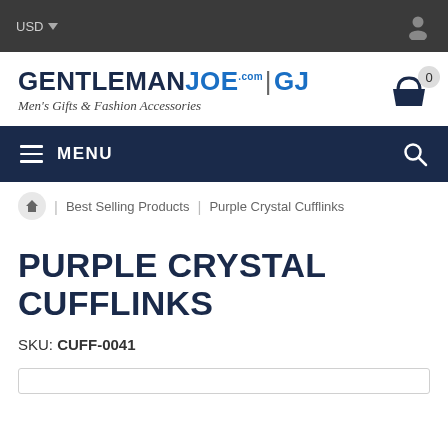USD ▾  [user icon]
[Figure (logo): GentlemanJoe.com GJ logo with tagline Men's Gifts & Fashion Accessories, and shopping cart with badge 0]
≡ MENU [search icon]
🏠 | Best Selling Products | Purple Crystal Cufflinks
PURPLE CRYSTAL CUFFLINKS
SKU: CUFF-0041